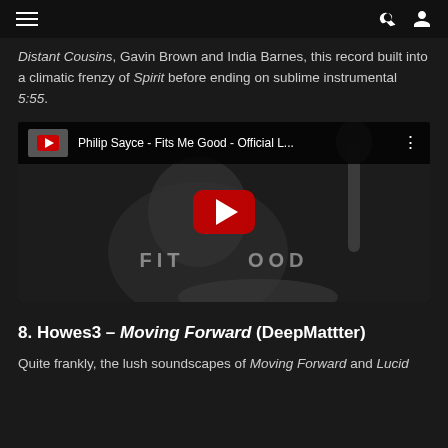Navigation header with menu, search and user icons
Distant Cousins, Gavin Brown and India Barnes, this record built into a climatic frenzy of Spirit before ending on sublime instrumental 5:55.
[Figure (screenshot): Embedded YouTube video player showing Philip Sayce - Fits Me Good - Official L... with play button overlay and dark background showing musician with guitar near microphone]
8. Howes3 – Moving Forward (DeepMattter)
Quite frankly, the lush soundscapes of Moving Forward and Lucid